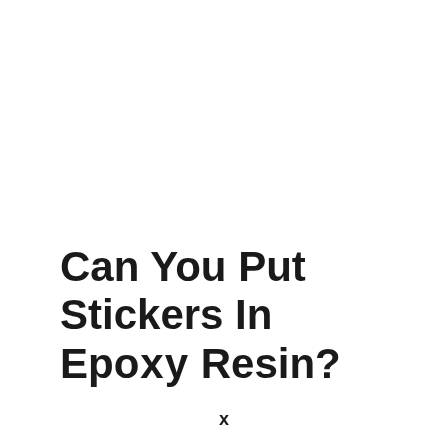Can You Put Stickers In Epoxy Resin?